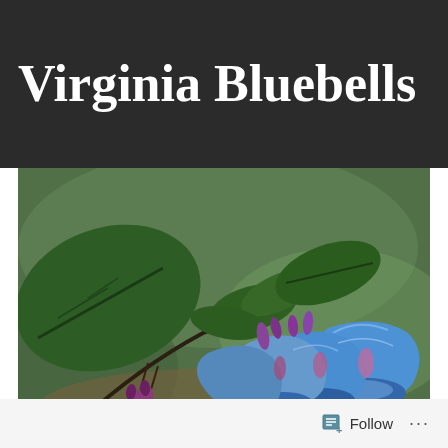Virginia Bluebells
[Figure (photo): Close-up photograph of Virginia Bluebells (Mertensia virginica) showing trumpet-shaped blue flowers in bloom and pink/purple buds, with green leaves in the background. The flowers hang in clusters from a curved stem against a blurred green background.]
One of my favorite native wildflowers that